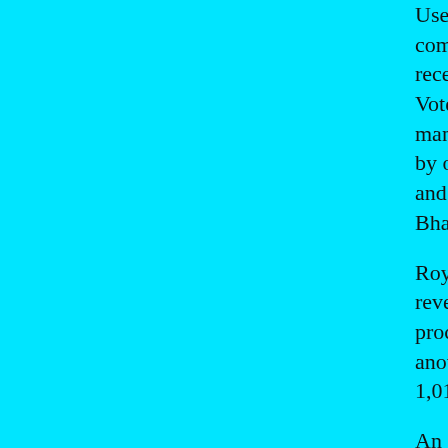Used in India since 1989, the EVMs — comprising a Balloting Unit (BU) and a Co recently, Voter Verifiable Paper Audit Trail (VVPAT manufactured by only two PSUs Electronics Corp of Ind and Bharat Electronics Ltd (BEL) in Bengaluru
Roy's RTI queries revealed that from 1989-90 till May 15, 20 procured a total of 1,005,662 BUs and 928 another 1,014,644 BUs and 934,031 CUs from EC
An RTI query to the Union Ministry of Law and Justice showed received intimation of purchase of 1,395,306 BUs a
BEL said on 9 June, 2017, that it supplied BUs to EC, from 2010 to 2017.
ECIL said it provided 222,925 BUs and 21 to 2017, and another 497,348 BUs and 307,0